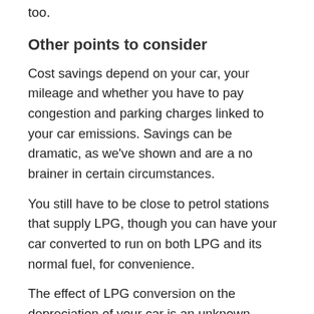too.
Other points to consider
Cost savings depend on your car, your mileage and whether you have to pay congestion and parking charges linked to your car emissions. Savings can be dramatic, as we've shown and are a no brainer in certain circumstances.
You still have to be close to petrol stations that supply LPG, though you can have your car converted to run on both LPG and its normal fuel, for convenience.
The effect of LPG conversion on the depreciation of your car is an unknown, though it seems sensible to assume that a 4×4 type vehicle would probably depreciate less, particularly with increasing road